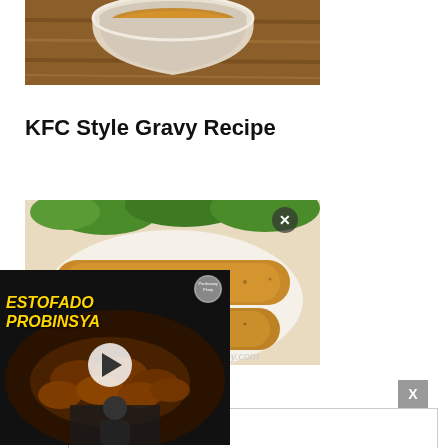[Figure (photo): Food photo showing a bowl of gravy sauce on a wooden surface, cropped at top]
KFC Style Gravy Recipe
[Figure (photo): Lumpia (spring rolls) on a plate with lettuce garnish, with sesame seeds visible]
[Figure (photo): Video overlay showing Estofado Probinsya dish with play button, chef visible at bottom, rPinoy.com watermark]
Lumpia ... lls Recipe